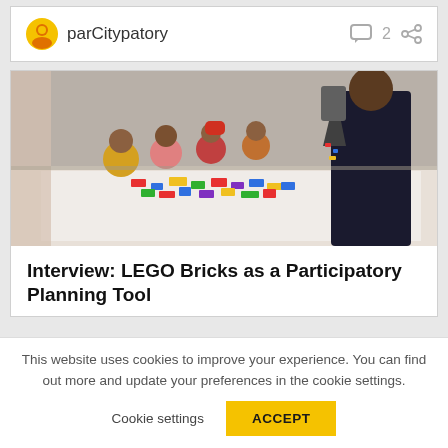parCitypatory  2
[Figure (photo): Children and adults gathered around a table covered with colorful LEGO bricks, engaged in a participatory planning activity.]
Interview: LEGO Bricks as a Participatory Planning Tool
This website uses cookies to improve your experience. You can find out more and update your preferences in the cookie settings.
Cookie settings   ACCEPT